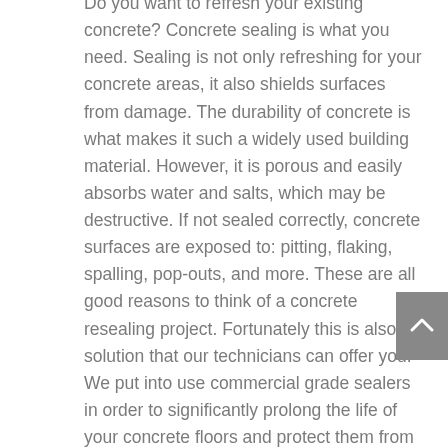Do you want to refresh your existing concrete? Concrete sealing is what you need. Sealing is not only refreshing for your concrete areas, it also shields surfaces from damage. The durability of concrete is what makes it such a widely used building material. However, it is porous and easily absorbs water and salts, which may be destructive. If not sealed correctly, concrete surfaces are exposed to: pitting, flaking, spalling, pop-outs, and more. These are all good reasons to think of a concrete resealing project. Fortunately this is also a solution that our technicians can offer you. We put into use commercial grade sealers in order to significantly prolong the life of your concrete floors and protect them from water, chemicals, and more. Our sealers are made to go deep into the porous layer of concrete, which will provide long-lasting results.